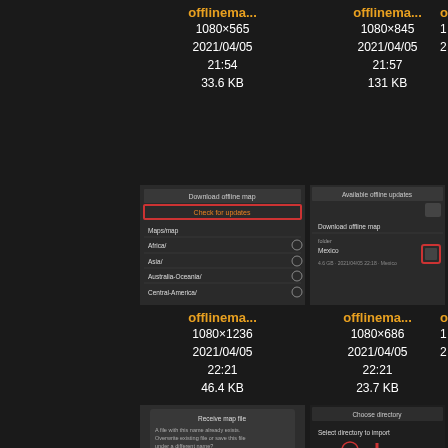[Figure (screenshot): File browser thumbnail - offlinema... 1080x565 2021/04/05 21:54 33.6 KB]
offlinema...
1080×565
2021/04/05
21:54
33.6 KB
[Figure (screenshot): File browser thumbnail - offlinema... 1080x845 2021/04/05 21:57 131 KB]
offlinema...
1080×845
2021/04/05
21:57
131 KB
[Figure (screenshot): Partial thumbnail - offlinema... cropped right]
[Figure (screenshot): Download offline map screen showing list: Africa, Asia, Australia-Oceania, Central-America with Check for updates button highlighted red]
[Figure (screenshot): Available offline updates screen showing Download offline map with Mexico entry and update icon highlighted red]
[Figure (screenshot): Partial thumbnail - off... cropped right]
offlinema...
1080×1236
2021/04/05
22:21
46.4 KB
offlinema...
1080×686
2021/04/05
22:21
23.7 KB
[Figure (screenshot): Receive map file dialog with overwrite warning and red button]
[Figure (screenshot): Choose directory screen with red arrow indicator]